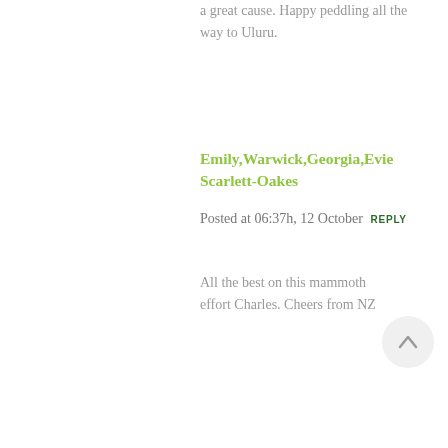a great cause. Happy peddling all the way to Uluru.
Emily,Warwick,Georgia,Evie Scarlett-Oakes
Posted at 06:37h, 12 October REPLY
All the best on this mammoth effort Charles. Cheers from NZ